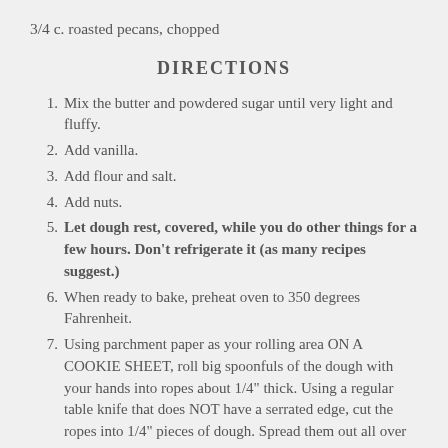3/4 c. roasted pecans, chopped
DIRECTIONS
1. Mix the butter and powdered sugar until very light and fluffy.
2. Add vanilla.
3. Add flour and salt.
4. Add nuts.
5. Let dough rest, covered, while you do other things for a few hours. Don't refrigerate it (as many recipes suggest.)
6. When ready to bake, preheat oven to 350 degrees Fahrenheit.
7. Using parchment paper as your rolling area ON A COOKIE SHEET, roll big spoonfuls of the dough with your hands into ropes about 1/4" thick. Using a regular table knife that does NOT have a serrated edge, cut the ropes into 1/4" pieces of dough. Spread them out all over